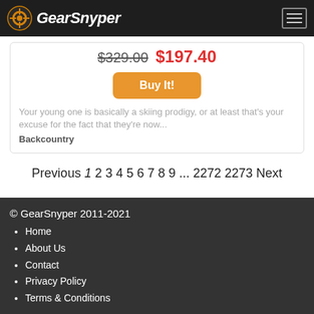GearSnyper
$329.00 $197.40
Buy It!
Your young one is basically a skiing prodigy, or at least that's your excuse for the fact that they're now... Backcountry
Previous 1 2 3 4 5 6 7 8 9 ... 2272 2273 Next
© GearSnyper 2011-2021
Home
About Us
Contact
Privacy Policy
Terms & Conditions